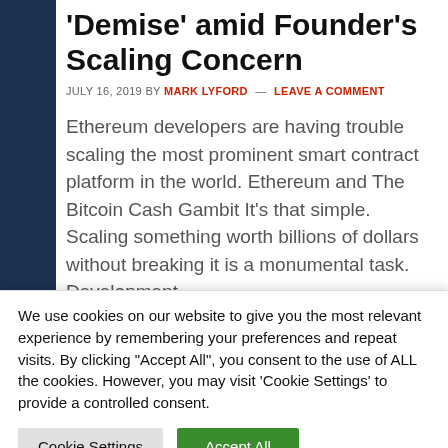'Demise' amid Founder's Scaling Concern
JULY 16, 2019 BY MARK LYFORD — LEAVE A COMMENT
Ethereum developers are having trouble scaling the most prominent smart contract platform in the world. Ethereum and The Bitcoin Cash Gambit It's that simple. Scaling something worth billions of dollars without breaking it is a monumental task. Development
We use cookies on our website to give you the most relevant experience by remembering your preferences and repeat visits. By clicking "Accept All", you consent to the use of ALL the cookies. However, you may visit 'Cookie Settings' to provide a controlled consent.